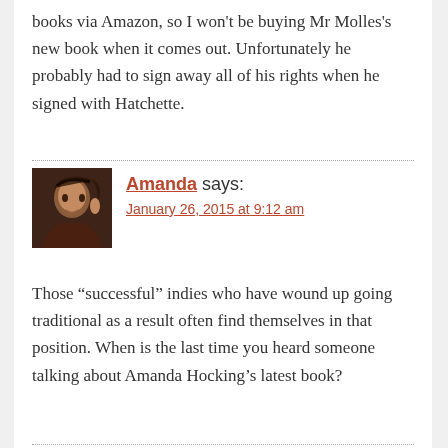books via Amazon, so I won't be buying Mr Molles's new book when it comes out. Unfortunately he probably had to sign away all of his rights when he signed with Hatchette.
Amanda says:
January 26, 2015 at 9:12 am
Those “successful” indies who have wound up going traditional as a result often find themselves in that position. When is the last time you heard someone talking about Amanda Hocking’s latest book?